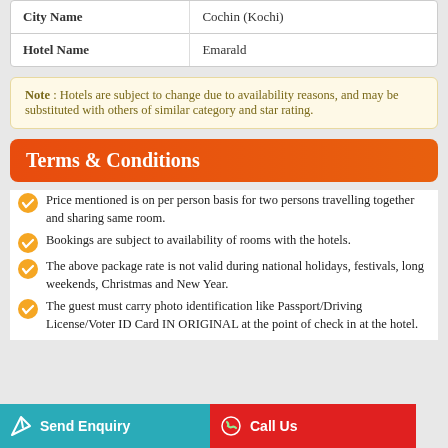| City Name | Cochin (Kochi) |
| Hotel Name | Emarald |
Note : Hotels are subject to change due to availability reasons, and may be substituted with others of similar category and star rating.
Terms & Conditions
Price mentioned is on per person basis for two persons travelling together and sharing same room.
Bookings are subject to availability of rooms with the hotels.
The above package rate is not valid during national holidays, festivals, long weekends, Christmas and New Year.
The guest must carry photo identification like Passport/Driving License/Voter ID Card IN ORIGINAL at the point of check in at the hotel.
Send Enquiry | Call Us